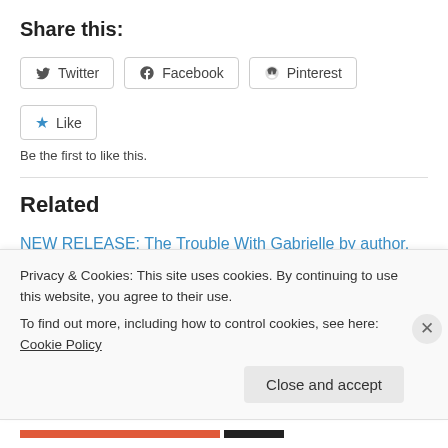Share this:
Twitter
Facebook
Pinterest
Like
Be the first to like this.
Related
NEW RELEASE: The Trouble With Gabrielle by author, @SylviaHubbard1 |She's alone, pregnant and about to be murdered #interracial #urbanintrigue #romancesuspense via
Privacy & Cookies: This site uses cookies. By continuing to use this website, you agree to their use.
To find out more, including how to control cookies, see here: Cookie Policy
Close and accept